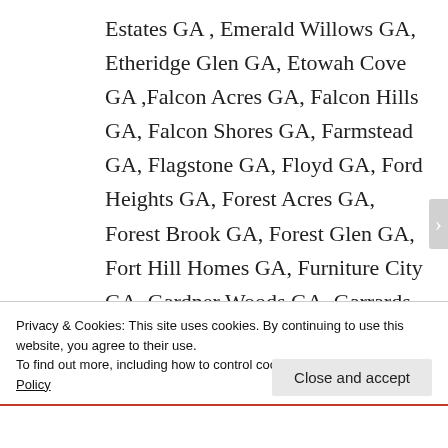Estates GA , Emerald Willows GA, Etheridge Glen GA, Etowah Cove GA ,Falcon Acres GA, Falcon Hills GA, Falcon Shores GA, Farmstead GA, Flagstone GA, Floyd GA, Ford Heights GA, Forest Acres GA, Forest Brook GA, Forest Glen GA, Fort Hill Homes GA, Furniture City GA, Gardner Woods GA, Garrards Crossing GA, Georgian Heights GA,
Privacy & Cookies: This site uses cookies. By continuing to use this website, you agree to their use.
To find out more, including how to control cookies, see here: Cookie Policy
Close and accept